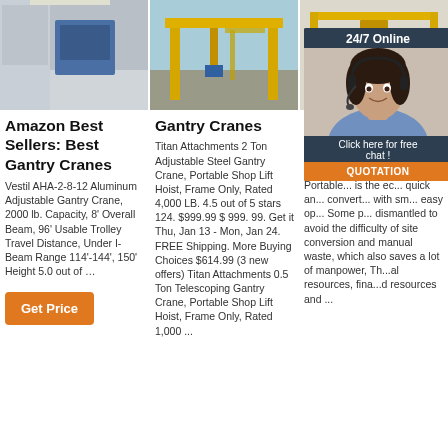[Figure (photo): Three industrial crane photos side by side: left shows blue machinery indoors, center shows yellow gantry crane outdoors, right shows yellow overhead crane in warehouse]
Amazon Best Sellers: Best Gantry Cranes
Vestil AHA-2-8-12 Aluminum Adjustable Gantry Crane, 2000 lb. Capacity, 8' Overall Beam, 96' Usable Trolley Travel Distance, Under I-Beam Range 114'-144', 150' Height 5.0 out of …
Get Price
Gantry Cranes
Titan Attachments 2 Ton Adjustable Steel Gantry Crane, Portable Shop Lift Hoist, Frame Only, Rated 4,000 LB. 4.5 out of 5 stars 124. $999.99 $ 999. 99. Get it Thu, Jan 13 - Mon, Jan 24. FREE Shipping. More Buying Choices $614.99 (3 new offers) Titan Attachments 0.5 Ton Telescoping Gantry Crane, Portable Shop Lift Hoist, Frame Only, Rated 1,000 ...
Portable Gantry Crane And R... Gantry
Portable... is the ec... quick an... convert... with sm... easy op... Some p... dismantled to avoid the difficulty of site conversion and manual waste, which also saves a lot of manpower, Th...al resources, fina...d resources and ...
[Figure (photo): Customer service agent overlay with 24/7 Online label, chat prompt and QUOTATION button]